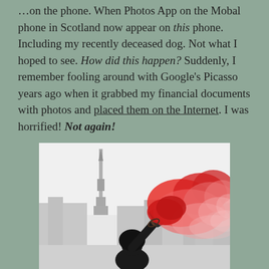...on the phone. When Photos App on the Mobal phone in Scotland now appear on this phone. Including my recently deceased dog. Not what I hoped to see. How did this happen? Suddenly, I remember fooling around with Google's Picasso years ago when it grabbed my financial documents with photos and placed them on the Internet. I was horrified! Not again!
[Figure (photo): A person wearing a black hoodie holds up a flare or smoke canister emitting a large plume of vivid red/pink smoke. In the background is a city skyline with what appears to be the CN Tower in Toronto. The image is mostly desaturated except for the bright red smoke.]